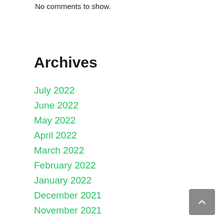No comments to show.
Archives
July 2022
June 2022
May 2022
April 2022
March 2022
February 2022
January 2022
December 2021
November 2021